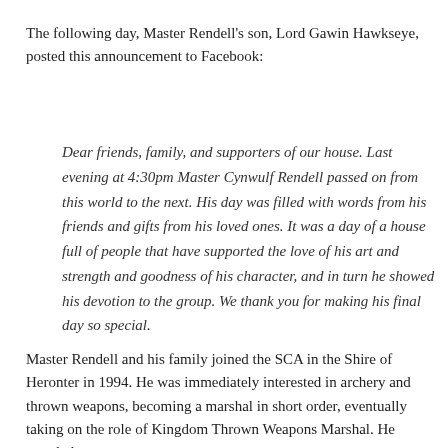The following day, Master Rendell's son, Lord Gawin Hawkseye, posted this announcement to Facebook:
Dear friends, family, and supporters of our house. Last evening at 4:30pm Master Cynwulf Rendell passed on from this world to the next. His day was filled with words from his friends and gifts from his loved ones. It was a day of a house full of people that have supported the love of his art and strength and goodness of his character, and in turn he showed his devotion to the group. We thank you for making his final day so special.
Master Rendell and his family joined the SCA in the Shire of Heronter in 1994. He was immediately interested in archery and thrown weapons, becoming a marshal in short order, eventually taking on the role of Kingdom Thrown Weapons Marshal. He traveled